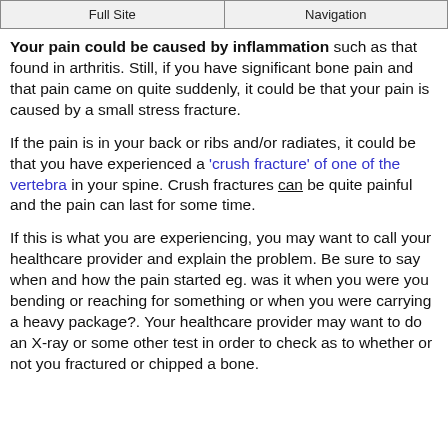Full Site | Navigation
Your pain could be caused by inflammation such as that found in arthritis. Still, if you have significant bone pain and that pain came on quite suddenly, it could be that your pain is caused by a small stress fracture.
If the pain is in your back or ribs and/or radiates, it could be that you have experienced a 'crush fracture' of one of the vertebra in your spine. Crush fractures can be quite painful and the pain can last for some time.
If this is what you are experiencing, you may want to call your healthcare provider and explain the problem. Be sure to say when and how the pain started eg. was it when you were you bending or reaching for something or when you were carrying a heavy package?. Your healthcare provider may want to do an X-ray or some other test in order to check as to whether or not you fractured or chipped a bone.